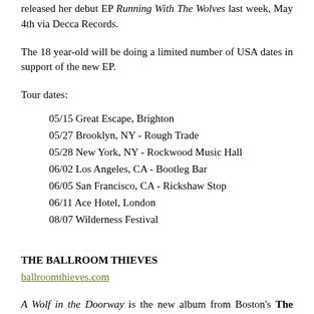released her debut EP Running With The Wolves last week, May 4th via Decca Records.
The 18 year-old will be doing a limited number of USA dates in support of the new EP.
Tour dates:
05/15 Great Escape, Brighton
05/27 Brooklyn, NY - Rough Trade
05/28 New York, NY - Rockwood Music Hall
06/02 Los Angeles, CA - Bootleg Bar
06/05 San Francisco, CA - Rickshaw Stop
06/11 Ace Hotel, London
08/07 Wilderness Festival
THE BALLROOM THIEVES
ballroomthieves.com
A Wolf in the Doorway is the new album from Boston's The Ballroom Thieves. The band is stopping by Minneapolis' Bryant-Lake Bowl tomorrow, Wednesday, May 13th. The venue is very, very small.
Tour dates: